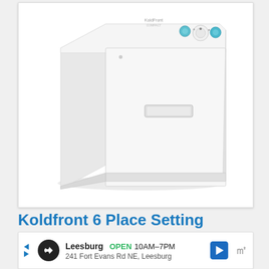[Figure (photo): White Koldfront countertop dishwasher, compact cube shape with control knobs and buttons on top right, soap dispenser door on front, photographed on white background]
Koldfront 6 Place Setting
[Figure (infographic): Advertisement banner for Leesburg store showing: store name Leesburg, OPEN 10AM-7PM, address 241 Fort Evans Rd NE, Leesburg, with navigation icons]